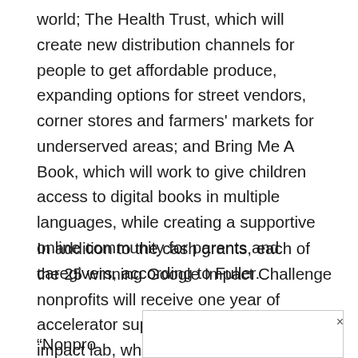world; The Health Trust, which will create new distribution channels for people to get affordable produce, expanding options for street vendors, corner stores and farmers' markets for underserved areas; and Bring Me A Book, which will work to give children access to digital books in multiple languages, while creating a supportive online community for parents and caregivers, according to Fuller.
In addition to the cash grants, each of the 25 winning Google Impact Challenge nonprofits will receive one year of accelerator support at Google's first-ever impact lab, which is a co-working space launched in partnership with Impact Hub SF, wrote Fuller. Impact Hub SF is a shared workspace for entrepreneurs committed to positive social and environmental change.
“Nonpro
eeting